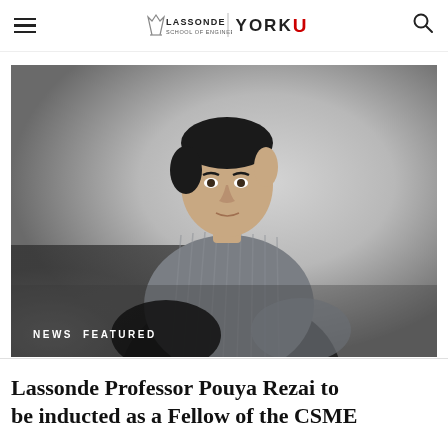Lassonde School of Engineering | York University
[Figure (photo): Portrait photo of Professor Pouya Rezai, a man in a striped dress shirt seated and facing slightly left, with a grey gradient background. Tags 'NEWS' and 'FEATURED' appear over the bottom-left of the image.]
Lassonde Professor Pouya Rezai to be inducted as a Fellow of the CSME